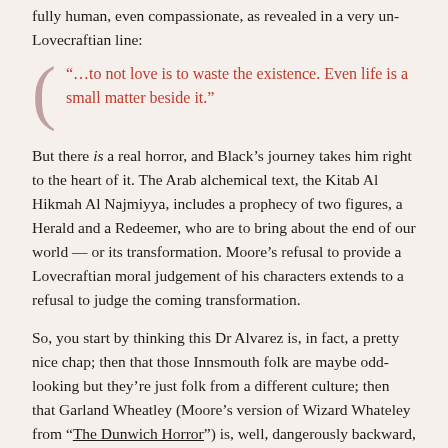fully human, even compassionate, as revealed in a very un-Lovecraftian line:
“…to not love is to waste the existence. Even life is a small matter beside it.”
But there is a real horror, and Black’s journey takes him right to the heart of it. The Arab alchemical text, the Kitab Al Hikmah Al Najmiyya, includes a prophecy of two figures, a Herald and a Redeemer, who are to bring about the end of our world — or its transformation. Moore’s refusal to provide a Lovecraftian moral judgement of his characters extends to a refusal to judge the coming transformation.
So, you start by thinking this Dr Alvarez is, in fact, a pretty nice chap; then that those Innsmouth folk are maybe odd-looking but they’re just folk from a different culture; then that Garland Wheatley (Moore’s version of Wizard Whateley from “The Dunwich Horror”) is, well, dangerously backward, perhaps best left alone, but not a world-shattering evil… Then you find